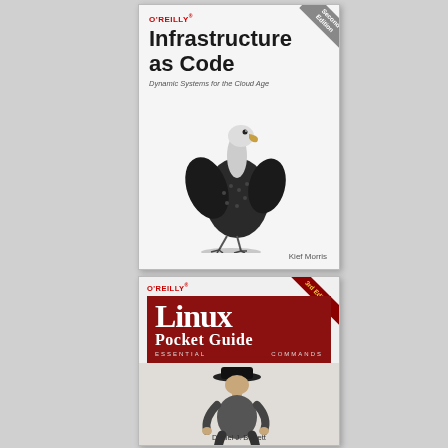[Figure (illustration): O'Reilly book cover: 'Infrastructure as Code: Dynamic Systems for the Cloud Age', Second Edition, by Kief Morris. White cover with a vulture/condor illustration. O'Reilly logo in red at top.]
[Figure (illustration): O'Reilly book cover: 'Linux Pocket Guide: Essential Commands', 3rd Edition, by Daniel J. Barrett. Dark red cover with large 'Linux Pocket Guide' text and a black-and-white photo of a man in a hat.]